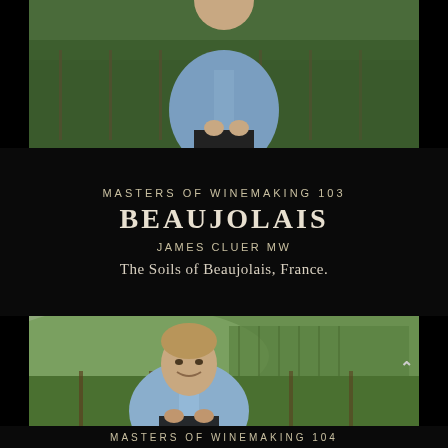[Figure (photo): Man in blue shirt standing in vineyard, upper body visible, lush green vines in background]
MASTERS OF WINEMAKING 103
BEAUJOLAIS
JAMES CLUER MW
The Soils of Beaujolais, France.
[Figure (photo): Man in light blue shirt smiling in vineyard with rolling green hills and vine rows in background]
MASTERS OF WINEMAKING 104